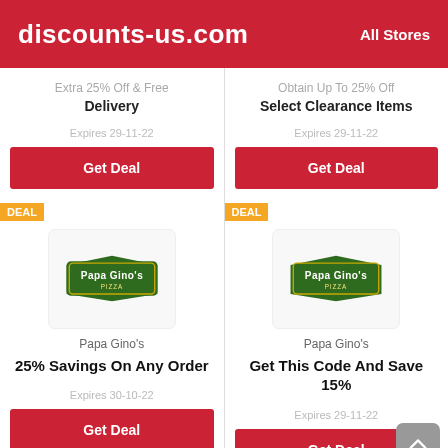discounts-us.com   All Stores
Extra 25% Off & Free Delivery
Expires 29-11-22
Get Deal
Obtain Up To 25% Off Select Clearance Items
Expires 29-11-22
Get Deal
DEAL
[Figure (logo): Papa Gino's logo]
Papa Gino's
25% Savings On Any Order
Expires 30-10-22
Get Deal
DEAL
[Figure (logo): Papa Gino's logo]
Papa Gino's
Get This Code And Save 15%
Expires 29-11-22
Get Deal